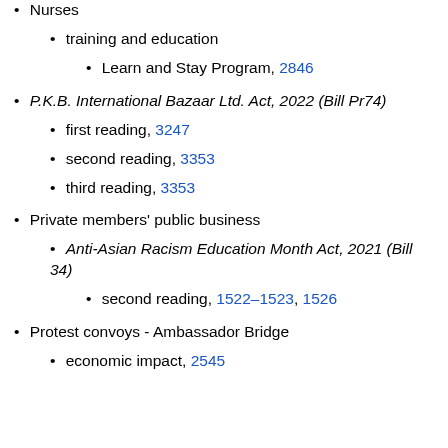Nurses
training and education
Learn and Stay Program, 2846
P.K.B. International Bazaar Ltd. Act, 2022 (Bill Pr74)
first reading, 3247
second reading, 3353
third reading, 3353
Private members' public business
Anti-Asian Racism Education Month Act, 2021 (Bill 34)
second reading, 1522–1523, 1526
Protest convoys - Ambassador Bridge
economic impact, 2545